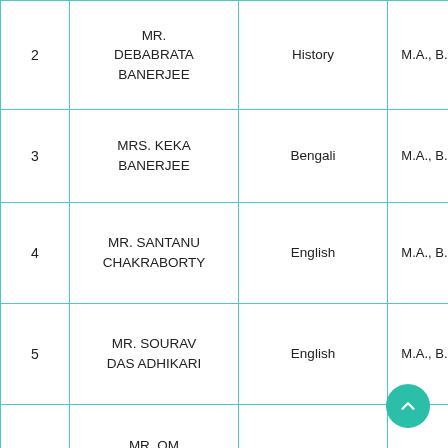| # | Name | Subject | Qualification |
| --- | --- | --- | --- |
| 2 | MR. DEBABRATA BANERJEE | History | M.A., B. Ed. |
| 3 | MRS. KEKA BANERJEE | Bengali | M.A., B. Ed. |
| 4 | MR. SANTANU CHAKRABORTY | English | M.A., B. Ed. |
| 5 | MR. SOURAV DAS ADHIKARI | English | M.A., B. Ed. |
| 6 | MR. OM PRAKASH SINGH | Commerce/Accounts | M. Com., B. Ed. |
| 7 | MS. INDRANI | Physics | M. Sc, B. Ed. |